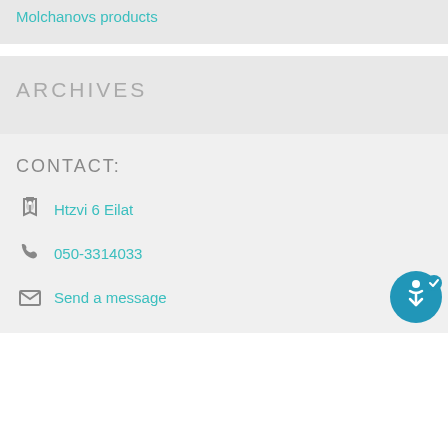Molchanovs products
ARCHIVES
CONTACT:
Htzvi 6 Eilat
050-3314033
Send a message